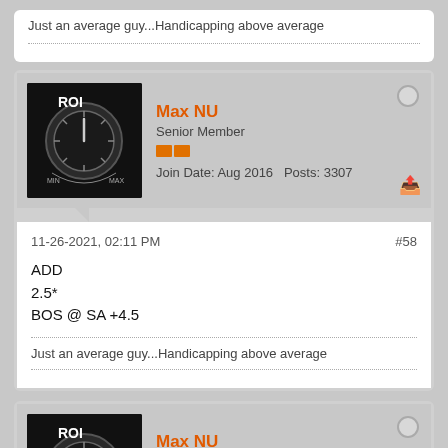Just an average guy...Handicapping above average
Max NU
Senior Member
Join Date: Aug 2016  Posts: 3307
11-26-2021, 02:11 PM  #58
ADD
2.5*
BOS @ SA +4.5
Just an average guy...Handicapping above average
Max NU
Senior Member
Join Date: Aug 2016  Posts: 3307